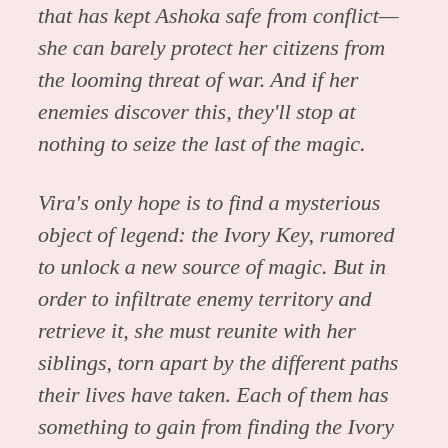that has kept Ashoka safe from conflict—she can barely protect her citizens from the looming threat of war. And if her enemies discover this, they'll stop at nothing to seize the last of the magic.
Vira's only hope is to find a mysterious object of legend: the Ivory Key, rumored to unlock a new source of magic. But in order to infiltrate enemy territory and retrieve it, she must reunite with her siblings, torn apart by the different paths their lives have taken. Each of them has something to gain from finding the Ivory Key–and even more to lose if they fail. Ronak plans to sell it to the highest bidder in exchange for